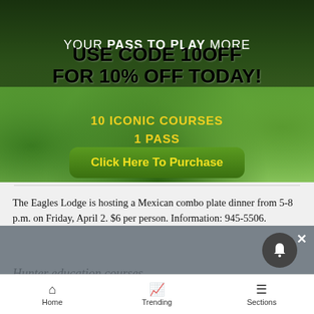[Figure (infographic): Golf course advertisement banner. Green golf course background. Text reads: YOUR PASS TO PLAY MORE. USE CODE 10OFF FOR 10% OFF TODAY! 10 ICONIC COURSES 1 PASS. Button: Click Here To Purchase.]
The Eagles Lodge is hosting a Mexican combo plate dinner from 5-8 p.m. on Friday, April 2. $6 per person. Information: 945-5506.
Hunter education courses
Home   Trending   Sections